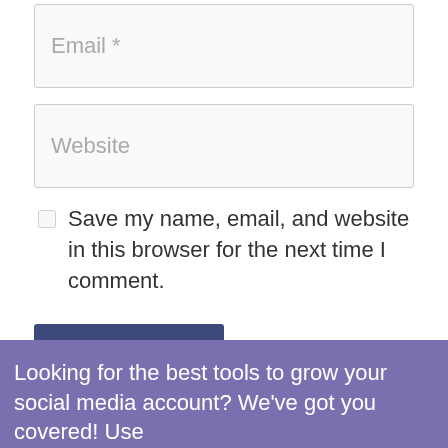Email *
Website
Save my name, email, and website in this browser for the next time I comment.
Post Comment
Looking for the best tools to grow your social media account? We've got you covered! Use